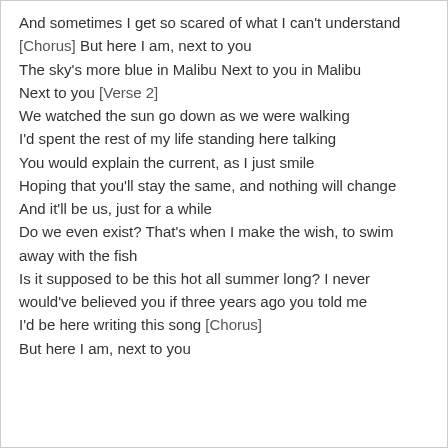And sometimes I get so scared of what I can't understand
[Chorus]
But here I am, next to you
The sky's more blue in Malibu
Next to you in Malibu
Next to you
[Verse 2]
We watched the sun go down as we were walking
I'd spent the rest of my life standing here talking
You would explain the current, as I just smile
Hoping that you'll stay the same, and nothing will change
And it'll be us, just for a while
Do we even exist? That's when I make the wish, to swim away with the fish
Is it supposed to be this hot all summer long? I never would've believed you if three years ago you told me
I'd be here writing this song
[Chorus]
But here I am, next to you